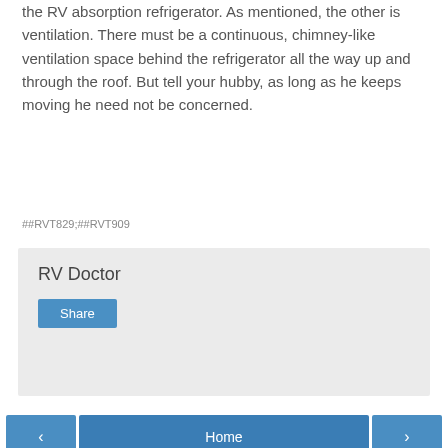the RV absorption refrigerator. As mentioned, the other is ventilation. There must be a continuous, chimney-like ventilation space behind the refrigerator all the way up and through the roof. But tell your hubby, as long as he keeps moving he need not be concerned.
##RVT829;##RVT909
RV Doctor
Share
Home
View web version
Powered by Blogger.